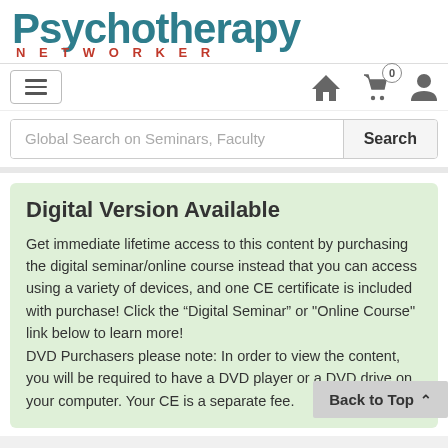[Figure (logo): Psychotherapy Networker logo with teal/dark cyan large text for 'Psychotherapy' and red spaced caps for 'NETWORKER']
[Figure (screenshot): Navigation bar with hamburger menu button on left, home icon, shopping cart with badge showing 0, and user profile icon on right]
[Figure (screenshot): Search bar with placeholder text 'Global Search on Seminars, Faculty' and a Search button]
Digital Version Available
Get immediate lifetime access to this content by purchasing the digital seminar/online course instead that you can access using a variety of devices, and one CE certificate is included with purchase! Click the “Digital Seminar” or "Online Course" link below to learn more!
DVD Purchasers please note: In order to view the content, you will be required to have a DVD player or a DVD drive on your computer. Your CE is a separate fee.
Back to Top